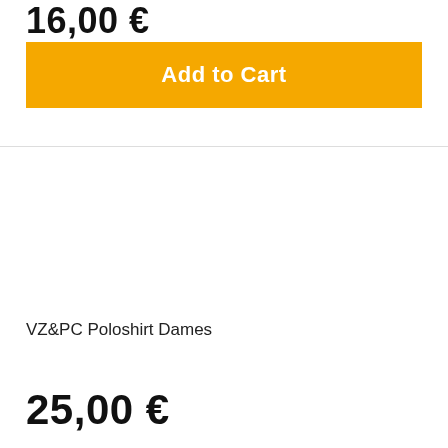16,00 €
Add to Cart
[Figure (photo): Product image area — blank white space for VZ&PC Poloshirt Dames product photo]
VZ&PC Poloshirt Dames
25,00 €